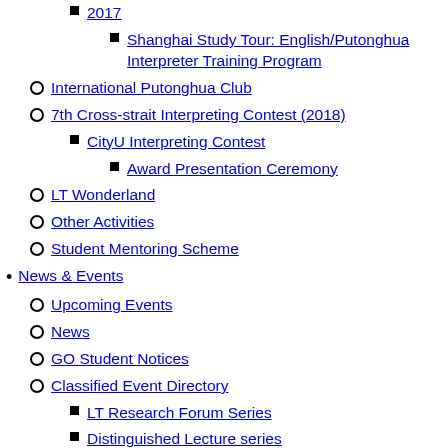2017
Shanghai Study Tour: English/Putonghua Interpreter Training Program
International Putonghua Club
7th Cross-strait Interpreting Contest (2018)
CityU Interpreting Contest
Award Presentation Ceremony
LT Wonderland
Other Activities
Student Mentoring Scheme
News & Events
Upcoming Events
News
GO Student Notices
Classified Event Directory
LT Research Forum Series
Distinguished Lecture series
Conferences
Workshops
Symposiums
Departmental Seminars
Research Student Seminars
Others
News & Events Archive
Full Archive